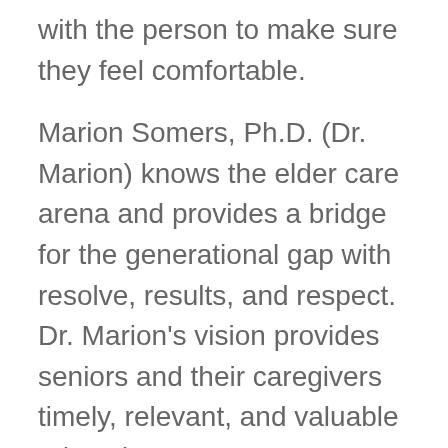with the person to make sure they feel comfortable.
Marion Somers, Ph.D. (Dr. Marion) knows the elder care arena and provides a bridge for the generational gap with resolve, results, and respect. Dr. Marion's vision provides seniors and their caregivers timely, relevant, and valuable education, resources, products, and services for a better life. Her mission's universal approach to engage and promote elder care needs worldwide creates a positive difference in the lives of caregivers and their elders.
To learn more about elder care and other